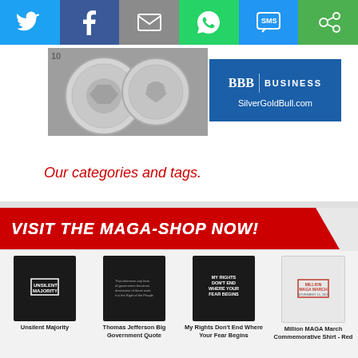[Figure (other): Social media share bar with Twitter, Facebook, Email, WhatsApp, SMS, and Other icons]
[Figure (other): SilverGoldBull.com advertisement with coins image and BBB Business logo, URL: SilverGoldBull.com]
Our categories and tags.
[Figure (other): VISIT THE MAGA-SHOP NOW! red banner with diagonal cut]
[Figure (other): T-shirt product grid showing: Unsilent Majority (black), Thomas Jefferson Big Government Quote (black), My Rights Don't End Where Your Fear Begins (black), Million MAGA March Commemorative Shirt - Red (white)]
[Figure (other): Second row of t-shirt products partially visible]